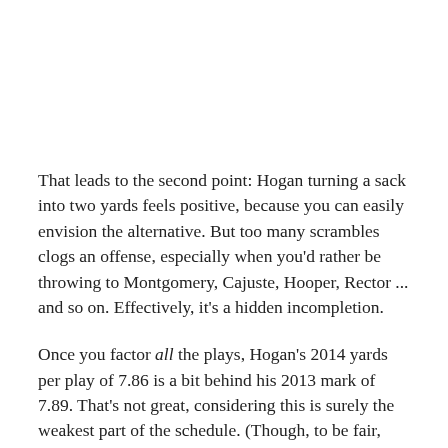That leads to the second point: Hogan turning a sack into two yards feels positive, because you can easily envision the alternative. But too many scrambles clogs an offense, especially when you'd rather be throwing to Montgomery, Cajuste, Hooper, Rector ... and so on. Effectively, it's a hidden incompletion.
Once you factor all the plays, Hogan's 2014 yards per play of 7.86 is a bit behind his 2013 mark of 7.89. That's not great, considering this is surely the weakest part of the schedule. (Though, to be fair, that it's a